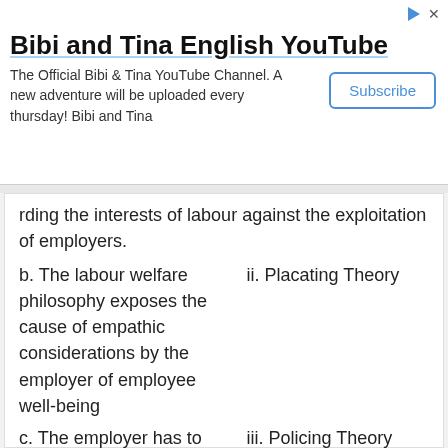[Figure (screenshot): YouTube ad banner for 'Bibi and Tina English YouTube' channel with Subscribe button]
rding the interests of labour against the exploitation of employers.
| b. The labour welfare philosophy exposes the cause of empathic considerations by the employer of employee well-being | ii. Placating Theory |
| c. The employer has to set out a portion of the profits for the benefit of the employees | iii. Policing Theory |
| d. Labour Welfare is provided for pacifying the agitating working class | iv. Philanthropic Theory |